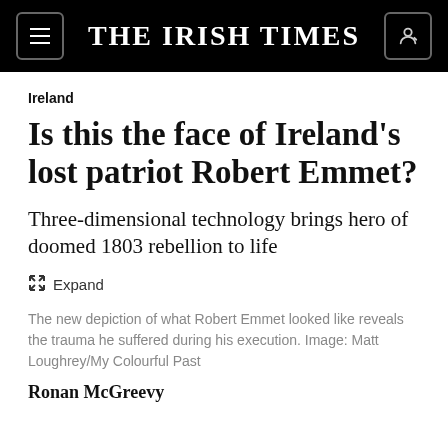THE IRISH TIMES
Ireland
Is this the face of Ireland's lost patriot Robert Emmet?
Three-dimensional technology brings hero of doomed 1803 rebellion to life
Expand
The new depiction of what Robert Emmet looked like reveals the trauma he suffered during his execution. Image: Matt Loughrey/My Colourful Past
Ronan McGreevy